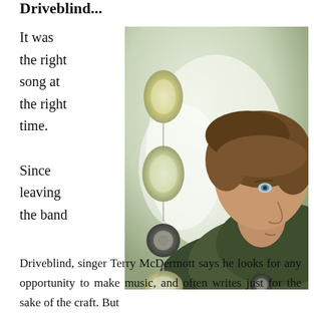Driveblind...
It was the right song at the right time.

Since leaving the band
[Figure (photo): Close-up profile photo of Terry McDermott, a man with brown hair wearing a dark jacket, looking downward. Decorative circular wind chime-like objects are visible to the left of his face against a bright background.]
Driveblind, singer Terry McDermott says he looks for any opportunity to make music, and often writes just for the sake of the craft. But